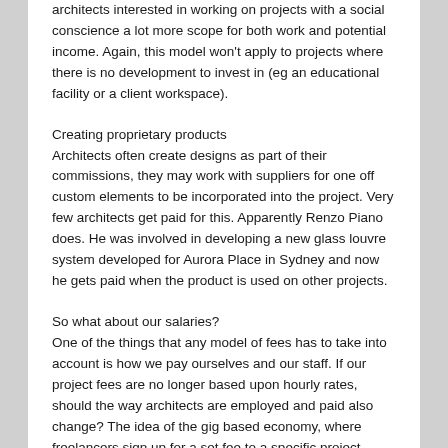architects interested in working on projects with a social conscience a lot more scope for both work and potential income. Again, this model won't apply to projects where there is no development to invest in (eg an educational facility or a client workspace).
Creating proprietary products
Architects often create designs as part of their commissions, they may work with suppliers for one off custom elements to be incorporated into the project. Very few architects get paid for this. Apparently Renzo Piano does. He was involved in developing a new glass louvre system developed for Aurora Place in Sydney and now he gets paid when the product is used on other projects.
So what about our salaries?
One of the things that any model of fees has to take into account is how we pay ourselves and our staff. If our project fees are no longer based upon hourly rates, should the way architects are employed and paid also change? The idea of the gig based economy, where freelancers sign up for a set fee to a specific project